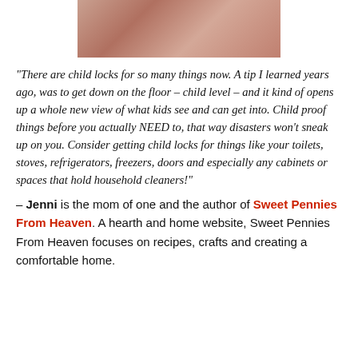[Figure (photo): Partial photo of a person, cropped, showing reddish/pink tones, bottom portion visible at top of page]
“There are child locks for so many things now. A tip I learned years ago, was to get down on the floor – child level – and it kind of opens up a whole new view of what kids see and can get into. Child proof things before you actually NEED to, that way disasters won’t sneak up on you. Consider getting child locks for things like your toilets, stoves, refrigerators, freezers, doors and especially any cabinets or spaces that hold household cleaners!”
– Jenni is the mom of one and the author of Sweet Pennies From Heaven. A hearth and home website, Sweet Pennies From Heaven focuses on recipes, crafts and creating a comfortable home.